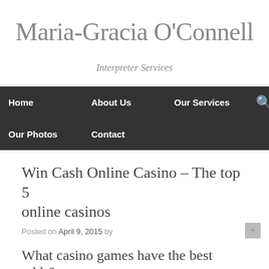Maria-Gracia O'Connell
Interpreter Services
Home   About Us   Our Services   Our Photos   Contact
Win Cash Online Casino – The top 5 online casinos
Posted on April 9, 2015 by
What casino games have the best odds?